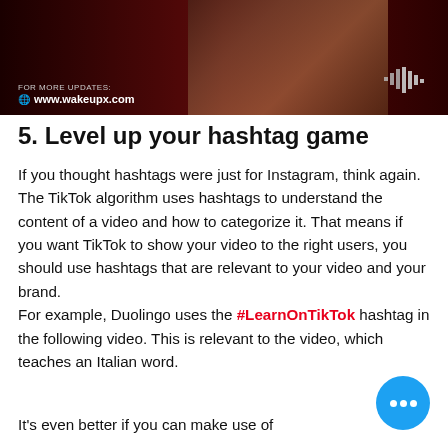[Figure (photo): Dark red banner with website URL 'www.wakeupx.com' and a blurred photo of objects in the background, with a pixelated arrow logo on the right]
5. Level up your hashtag game
If you thought hashtags were just for Instagram, think again. The TikTok algorithm uses hashtags to understand the content of a video and how to categorize it. That means if you want TikTok to show your video to the right users, you should use hashtags that are relevant to your video and your brand.
For example, Duolingo uses the #LearnOnTikTok hashtag in the following video. This is relevant to the video, which teaches an Italian word.
It's even better if you can make use of